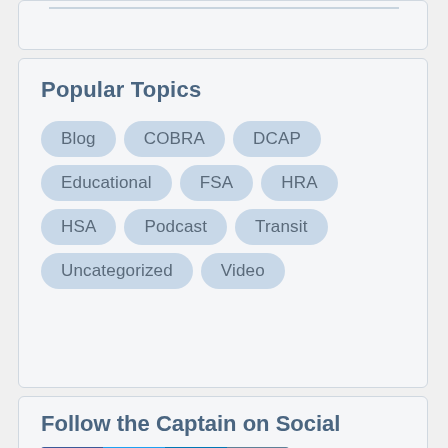Popular Topics
Blog
COBRA
DCAP
Educational
FSA
HRA
HSA
Podcast
Transit
Uncategorized
Video
Follow the Captain on Social
[Figure (infographic): Social media icons: Facebook, Twitter, LinkedIn, Instagram]